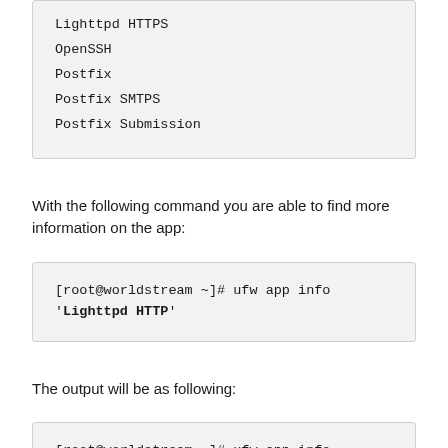Lighttpd HTTPS
OpenSSH
Postfix
Postfix SMTPS
Postfix Submission
With the following command you are able to find more information on the app:
[root@worldstream ~]# ufw app info 'Lighttpd HTTP'
The output will be as following:
[root@worldstream ~]# ufw app info 'Lighttpd HTTP'